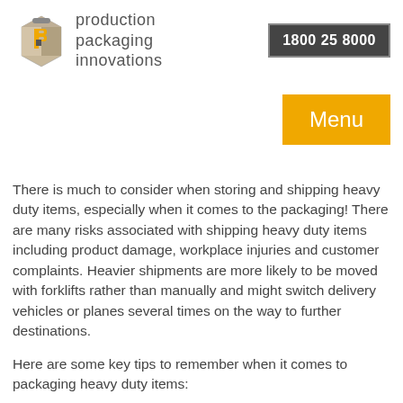[Figure (logo): Production Packaging Innovations logo with stylized P icon in yellow and grey, and company name text]
1800 25 8000
Menu
There is much to consider when storing and shipping heavy duty items, especially when it comes to the packaging! There are many risks associated with shipping heavy duty items including product damage, workplace injuries and customer complaints. Heavier shipments are more likely to be moved with forklifts rather than manually and might switch delivery vehicles or planes several times on the way to further destinations.
Here are some key tips to remember when it comes to packaging heavy duty items:
1. Packaging Needs to be Durable